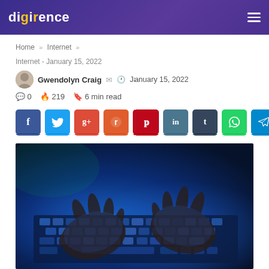digirence
Home » Internet »
Internet - January 15, 2022
Gwendolyn Craig  January 15, 2022  0  219  6 min read
[Figure (other): Social share buttons: Facebook, Twitter, Google+, Reddit, Pinterest, LinkedIn, Tumblr, WhatsApp, Telegram]
[Figure (photo): Hands typing on a glowing blue-lit keyboard in a dark environment]